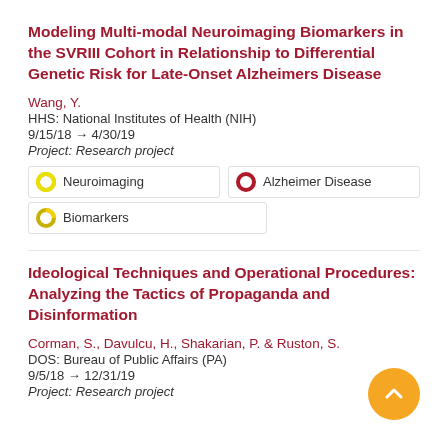Modeling Multi-modal Neuroimaging Biomarkers in the SVRIII Cohort in Relationship to Differential Genetic Risk for Late-Onset Alzheimers Disease
Wang, Y.
HHS: National Institutes of Health (NIH)
9/15/18 → 4/30/19
Project: Research project
Neuroimaging
Alzheimer Disease
Biomarkers
Ideological Techniques and Operational Procedures: Analyzing the Tactics of Propaganda and Disinformation
Corman, S., Davulcu, H., Shakarian, P. & Ruston, S.
DOS: Bureau of Public Affairs (PA)
9/5/18 → 12/31/19
Project: Research project